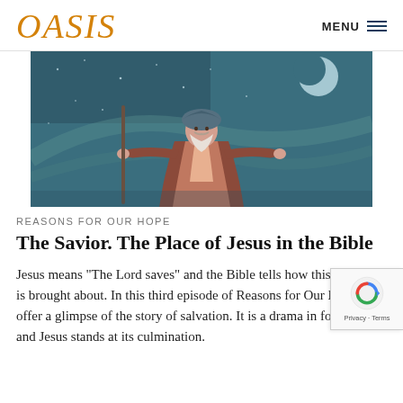OASIS  MENU
[Figure (illustration): Illustration of a biblical figure (Jesus or a prophet) with white beard, standing with arms raised, holding a staff, wearing robes, against a dark teal night sky with stars and a crescent moon.]
REASONS FOR OUR HOPE
The Savior. The Place of Jesus in the Bible
Jesus means “The Lord saves” and the Bible tells how this salvation is brought about. In this third episode of Reasons for Our Hope we offer a glimpse of the story of salvation. It is a drama in four acts and Jesus stands at its culmination.